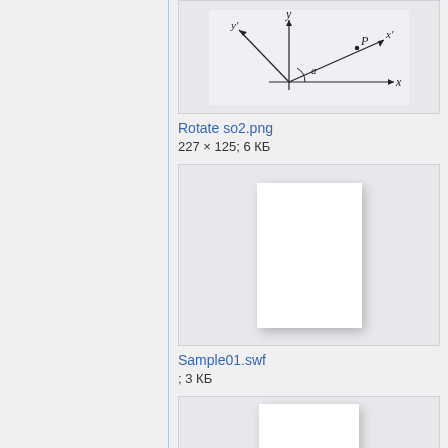[Figure (illustration): Rotate so2 diagram showing coordinate axes x, y and rotated axes x', y' with point P and angle a]
Rotate so2.png
227 × 125; 6 КБ
[Figure (illustration): Sample01.swf file thumbnail shown as blank white rectangle]
Sample01.swf
; 3 КБ
[Figure (illustration): Another file thumbnail shown as blank white rectangle (partially visible)]